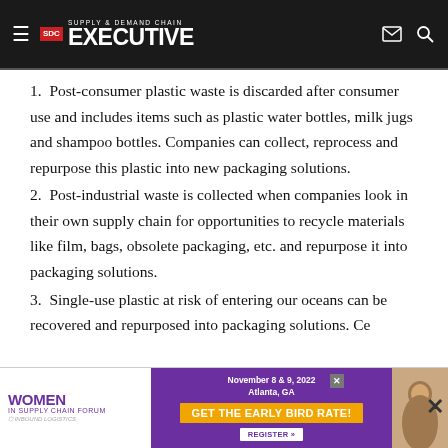Supply & Demand Chain Executive
1. Post-consumer plastic waste is discarded after consumer use and includes items such as plastic water bottles, milk jugs and shampoo bottles. Companies can collect, reprocess and repurpose this plastic into new packaging solutions.
2. Post-industrial waste is collected when companies look in their own supply chain for opportunities to recycle materials like film, bags, obsolete packaging, etc. and repurpose it into packaging solutions.
3. Single-use plastic at risk of entering our oceans can be recovered and repurposed into packaging solutions. Cer... are utilizing innovative material streams like coastline...
[Figure (other): Advertisement banner for Women in Supply Chain Forum, November 8 & 9, 2022, Atlanta, GA. Get The Early Bird Rate! Register button.]